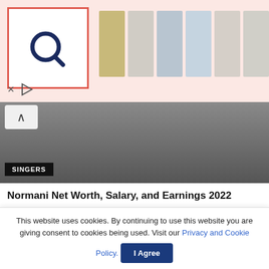[Figure (screenshot): Advertisement banner with Q logo in red-bordered box, product thumbnails (watch, books, clothing) on pink background]
[Figure (photo): Hero image of a singer (Normani) in dark top, cropped, with SINGERS label overlay and scroll-up arrow button]
Normani Net Worth, Salary, and Earnings 2022
Normani's net worth : Normani Kordei Hamilton is an American singer and dancer. Curious to learn more about Normani? Read...
READ MORE
The Weeknd Net Worth, Salary, and Earnings 2022
This website uses cookies. By continuing to use this website you are giving consent to cookies being used. Visit our Privacy and Cookie Policy.